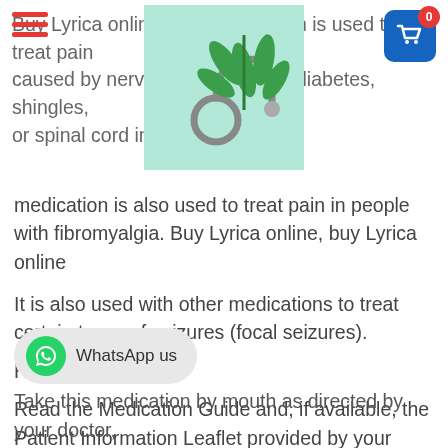Buy Lyrica online. This medication is used to treat pain caused by nerve damage due to diabetes, shingles, or spinal cord injury. This medication is also used to treat pain in people with fibromyalgia. Buy Lyrica online, buy Lyrica online
[Figure (photo): Cannabis leaf with stethoscope on teal background]
It is also used with other medications to treat certain types of seizures (focal seizures).
How to use Lyrica
Read the Medication Guide and, if available, the Patient Information Leaflet provided by your pharmacist before you start using pregabalin and each time you get a refill. If you have any questions regarding the information, consult your doctor or pharmacist. Buy Lyrica online
Take this medication by mouth as directed by your doctor,